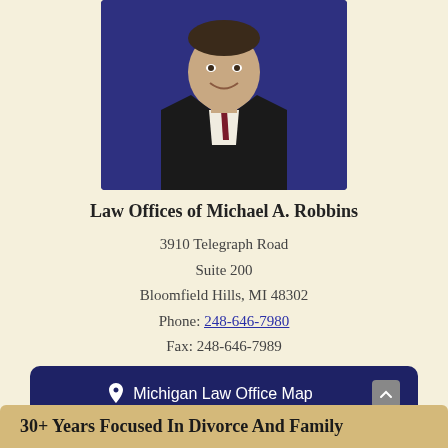[Figure (photo): Professional headshot of Michael A. Robbins, a man in a dark suit with a red tie, smiling, against a dark blue background]
Law Offices of Michael A. Robbins
3910 Telegraph Road
Suite 200
Bloomfield Hills, MI 48302
Phone: 248-646-7980
Fax: 248-646-7989
Michigan Law Office Map
Review Us
30+ Years Focused In Divorce And Family